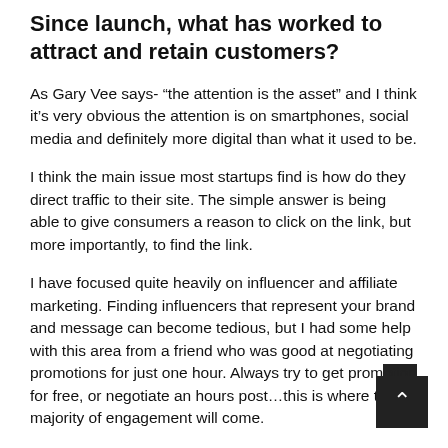Since launch, what has worked to attract and retain customers?
As Gary Vee says- “the attention is the asset” and I think it’s very obvious the attention is on smartphones, social media and definitely more digital than what it used to be.
I think the main issue most startups find is how do they direct traffic to their site. The simple answer is being able to give consumers a reason to click on the link, but more importantly, to find the link.
I have focused quite heavily on influencer and affiliate marketing. Finding influencers that represent your brand and message can become tedious, but I had some help with this area from a friend who was good at negotiating promotions for just one hour. Always try to get promotion for free, or negotiate an hours post…this is where the majority of engagement will come.
Affiliate marketing is an effective tool to grow brand…